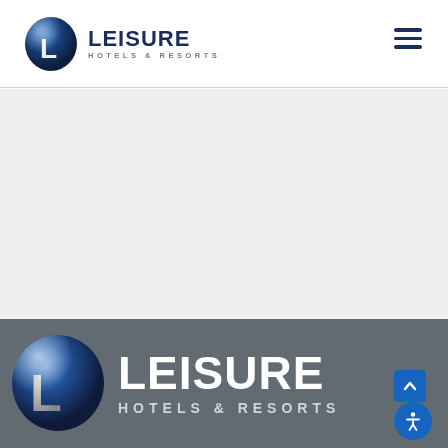[Figure (logo): Leisure Hotels & Resorts logo in header — blue globe with L, dark navy LEISURE text, grey HOTELS & RESORTS subtext]
[Figure (other): Hamburger menu icon (three horizontal dark navy lines) in top right of header]
[Figure (other): Light grey blank content area]
[Figure (logo): Leisure Hotels & Resorts logo in dark grey footer — large silver/blue globe with L, white LEISURE text large, light HOTELS & RESORTS subtext below. Scroll-to-top blue button and accessibility icon button at bottom right.]